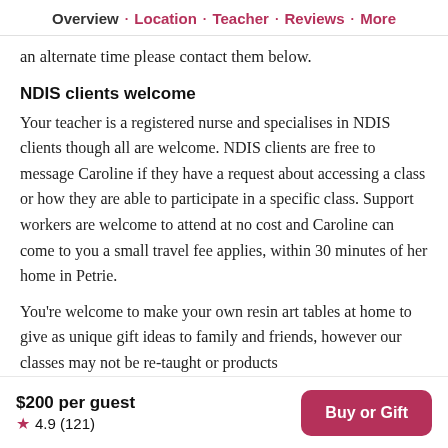Overview · Location · Teacher · Reviews · More
an alternate time please contact them below.
NDIS clients welcome
Your teacher is a registered nurse and specialises in NDIS clients though all are welcome. NDIS clients are free to message Caroline if they have a request about accessing a class or how they are able to participate in a specific class. Support workers are welcome to attend at no cost and Caroline can come to you a small travel fee applies, within 30 minutes of her home in Petrie.
You're welcome to make your own resin art tables at home to give as unique gift ideas to family and friends, however our classes may not be re-taught or products
$200 per guest ★ 4.9 (121) Buy or Gift